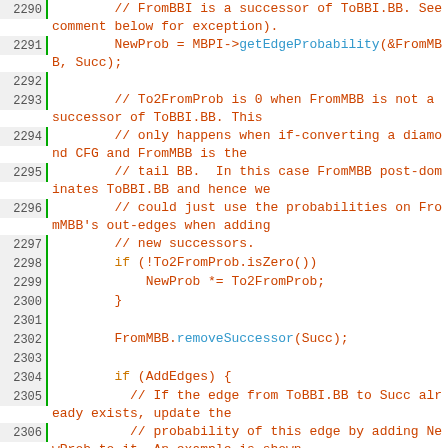[Figure (screenshot): Source code snippet showing C++ code lines 2290-2311 with line numbers, green vertical bar separator, and syntax-colored text (orange/red for code, blue for function calls, yellow/orange for keywords).]